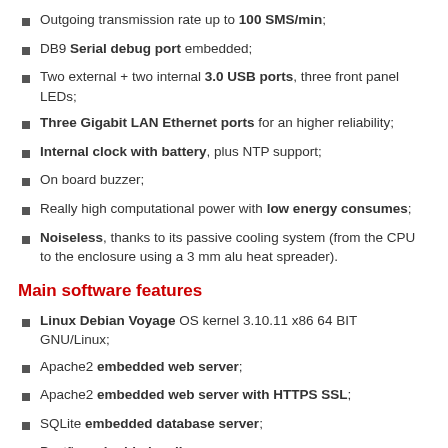Outgoing transmission rate up to 100 SMS/min;
DB9 Serial debug port embedded;
Two external + two internal 3.0 USB ports, three front panel LEDs;
Three Gigabit LAN Ethernet ports for an higher reliability;
Internal clock with battery, plus NTP support;
On board buzzer;
Really high computational power with low energy consumes;
Noiseless, thanks to its passive cooling system (from the CPU to the enclosure using a 3 mm alu heat spreader).
Main software features
Linux Debian Voyage OS kernel 3.10.11 x86 64 BIT GNU/Linux;
Apache2 embedded web server;
Apache2 embedded web server with HTTPS SSL;
SQLite embedded database server;
Postfix embedded mail server;
Fully featured Web Interface for device management;